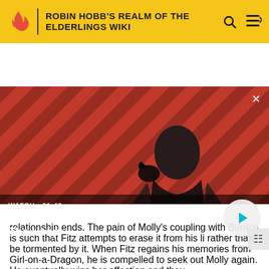ROBIN HOBB'S REALM OF THE ELDERLINGS WIKI
[Figure (screenshot): Video thumbnail showing a dark-haired man in a black coat with a raven on his shoulder, against a red and black diagonal striped background. Text overlay shows 'WATCH • 01:40' and title 'The Sandman Will Keep You Awake - The Loop' with a play button.]
relationship ends. The pain of Molly's coupling with Burrich is such that Fitz attempts to erase it from his li rather than be tormented by it. When Fitz regains his memories from Girl-on-a-Dragon, he is compelled to seek out Molly again. He eventually wins her affection and they